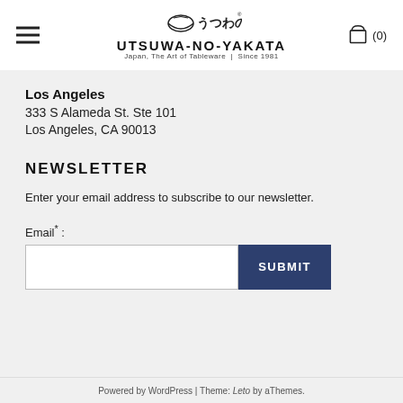UTSUWA-NO-YAKATA | Japan, The Art of Tableware | Since 1981
Los Angeles
333 S Alameda St. Ste 101
Los Angeles, CA 90013
NEWSLETTER
Enter your email address to subscribe to our newsletter.
Email * :
Powered by WordPress | Theme: Leto by aThemes.